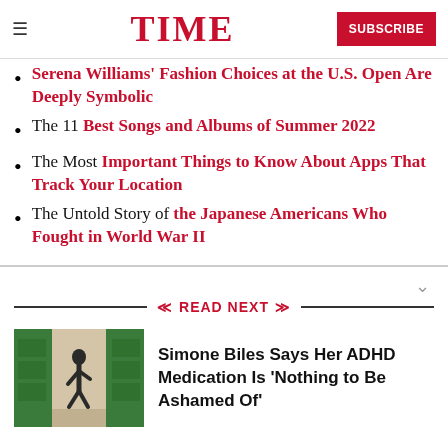TIME | SUBSCRIBE
Serena Williams' Fashion Choices at the U.S. Open Are Deeply Symbolic
The 11 Best Songs and Albums of Summer 2022
The Most Important Things to Know About Apps That Track Your Location
The Untold Story of the Japanese Americans Who Fought in World War II
READ NEXT
Simone Biles Says Her ADHD Medication Is 'Nothing to Be Ashamed Of'
[Figure (photo): Photo of Simone Biles running through a green-framed doorway]